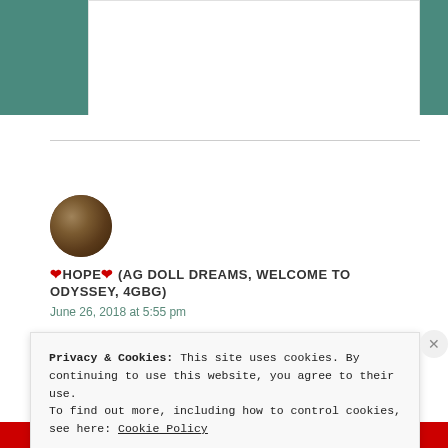[Figure (photo): User avatar - circular profile photo with brown/earth tones]
❤️HOPE❤️ (AG DOLL DREAMS, WELCOME TO ODYSSEY, 4GBG)
June 26, 2018 at 5:55 pm
Privacy & Cookies: This site uses cookies. By continuing to use this website, you agree to their use.
To find out more, including how to control cookies, see here: Cookie Policy
Close and accept